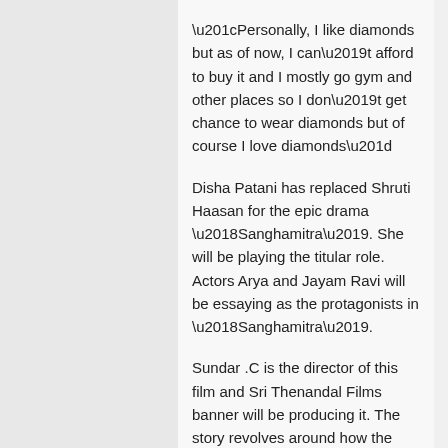“Personally, I like diamonds but as of now, I can’t afford to buy it and I mostly go gym and other places so I don’t get chance to wear diamonds but of course I love diamonds”
Disha Patani has replaced Shruti Haasan for the epic drama ‘Sanghamitra’. She will be playing the titular role. Actors Arya and Jayam Ravi will be essaying as the protagonists in ‘Sanghamitra’.
Sundar .C is the director of this film and Sri Thenandal Films banner will be producing it. The story revolves around how the princess Sanghamitra faces the challenges in order to protect her kingdom. Inspired by the reigns of Tamil rulers of ancient times, ‘Sanghamitra’ will be a purely fictional take on the state’s glorious past.
Oscar-winning composer AR Rahman will score the’ Sanghamitra’ music, while the film will be lensed by National Award-winning cinematographer Thirunavukarasu.